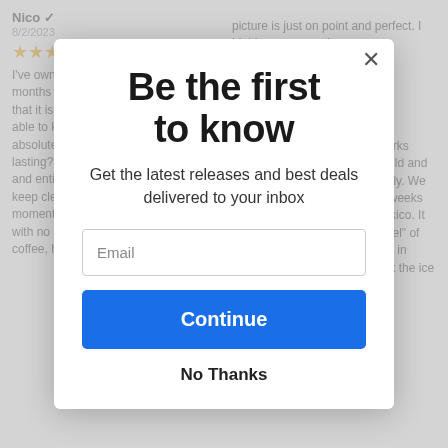[Figure (screenshot): Background showing two product review columns partially visible behind a modal popup. Left column shows reviewer 'Nico' with 4-star rating and review text about owning a tumbler. Right column shows another review text mentioning keeping drinks cold and slowing ice melting.]
Be the first to know
Get the latest releases and best deals delivered to your inbox
Email
Continue
No Thanks